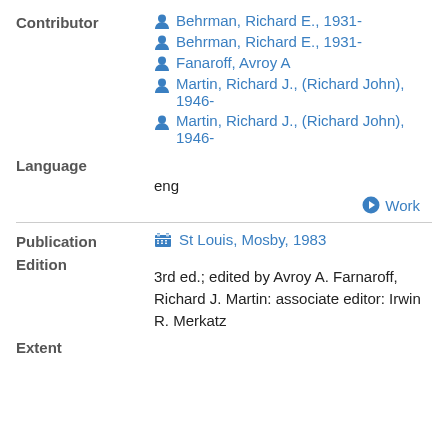Contributor
Behrman, Richard E., 1931-
Behrman, Richard E., 1931-
Fanaroff, Avroy A
Martin, Richard J., (Richard John), 1946-
Martin, Richard J., (Richard John), 1946-
Language
eng
Work
Publication
St Louis, Mosby, 1983
Edition
3rd ed.; edited by Avroy A. Farnaroff, Richard J. Martin: associate editor: Irwin R. Merkatz
Extent